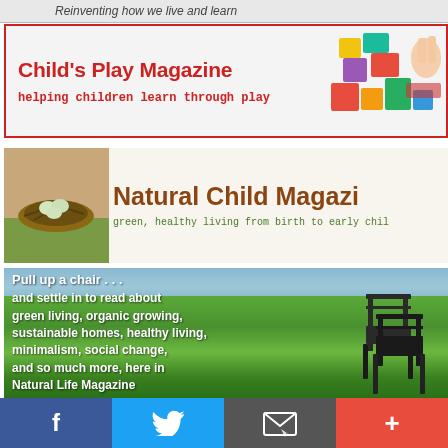Reinventing how we live and learn
[Figure (illustration): Child's Play Magazine advertisement banner with red border, showing bold red title text and subtitle, with colorful toy blocks on the right side]
[Figure (illustration): Natural Child Magazine banner with bird's nest image on left, brown bold title text and green monospace subtitle]
[Figure (photo): Scenic outdoor photo showing green grassy landscape near water with text overlay: 'Pull up a chair . . . and settle in to read about green living, organic growing, sustainable homes, healthy living, minimalism, social change, and so much more, here in Natural Life Magazine' with dark wooden chairs visible on the right]
f  [Twitter bird]  [email icon]  +